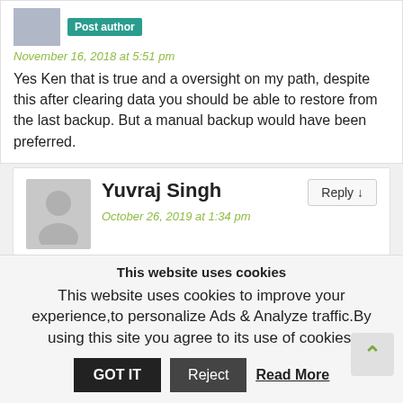[Figure (photo): Small grey avatar image and Post author badge]
November 16, 2018 at 5:51 pm
Yes Ken that is true and a oversight on my path, despite this after clearing data you should be able to restore from the last backup. But a manual backup would have been preferred.
[Figure (photo): Grey person silhouette avatar for Yuvraj Singh]
Yuvraj Singh
October 26, 2019 at 1:34 pm
Simply first remove ur dp then again load ur dp. Thnx me later.
This website uses cookies
This website uses cookies to improve your experience,to personalize Ads & Analyze traffic.By using this site you agree to its use of cookies.